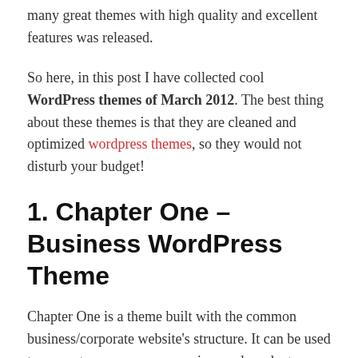many great themes with high quality and excellent features was released.
So here, in this post I have collected cool WordPress themes of March 2012. The best thing about these themes is that they are cleaned and optimized wordpress themes, so they would not disturb your budget!
1. Chapter One – Business WordPress Theme
Chapter One is a theme built with the common business/corporate website's structure. It can be used to present your company services and products… and also as a blog platform.